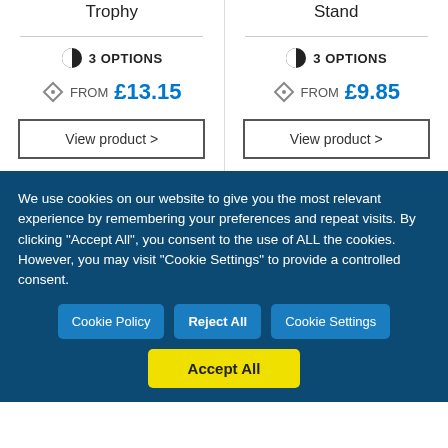Trophy
Stand
3 OPTIONS
FROM £13.15
View product >
3 OPTIONS
FROM £9.85
View product >
We use cookies on our website to give you the most relevant experience by remembering your preferences and repeat visits. By clicking "Accept All", you consent to the use of ALL the cookies. However, you may visit "Cookie Settings" to provide a controlled consent.
Cookie Policy
Reject All
Cookie Settings
Accept All